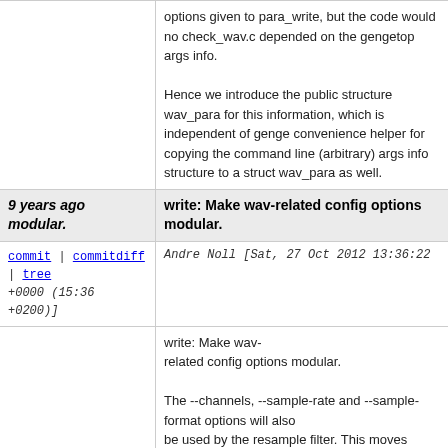options given to para_write, but the code would not check_wav.c depended on the gengetop args info.

Hence we introduce the public structure wav_para for this information, which is independent of genge convenience helper for copying the command line (arbitrary) args info structure to a struct wav_para as well.
9 years ago modular. write: Make wav-related config options modular.
commit | commitdiff | tree Andre Noll [Sat, 27 Oct 2012 13:36:22 +0000 (15:36 +0200)]
write: Make wav-related config options modular.

The --channels, --sample-rate and --sample-format options will also be used by the resample filter. This moves these config files which are included from write.m4. This allows also from the config file of the resample filter.
9 years ago para_filter: Call proper ->free_config method on shutdown.
commit | commitdiff | tree Andre Noll [Sun, 11 Nov 2012 09:14:39 +0000 (10:14 +0100)]